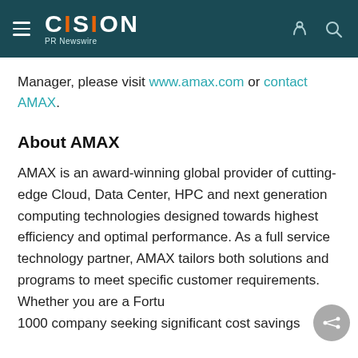CISION PR Newswire
Manager, please visit www.amax.com or contact AMAX.
About AMAX
AMAX is an award-winning global provider of cutting-edge Cloud, Data Center, HPC and next generation computing technologies designed towards highest efficiency and optimal performance. As a full service technology partner, AMAX tailors both solutions and programs to meet specific customer requirements. Whether you are a Fortune 1000 company seeking significant cost savings